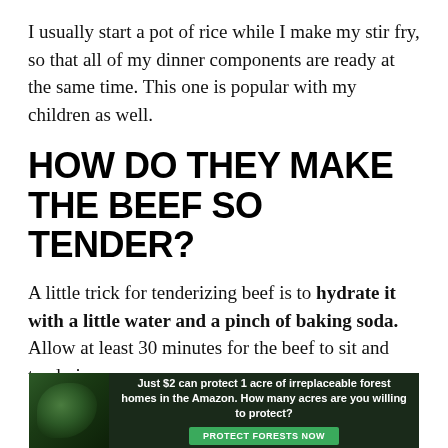I usually start a pot of rice while I make my stir fry, so that all of my dinner components are ready at the same time. This one is popular with my children as well.
HOW DO THEY MAKE THE BEEF SO TENDER?
A little trick for tenderizing beef is to hydrate it with a little water and a pinch of baking soda. Allow at least 30 minutes for the beef to sit and tenderize.
[Figure (infographic): Advertisement banner with dark forest background. Text reads: 'Just $2 can protect 1 acre of irreplaceable forest homes in the Amazon. How many acres are you willing to protect?' with a green 'PROTECT FORESTS NOW' button.]